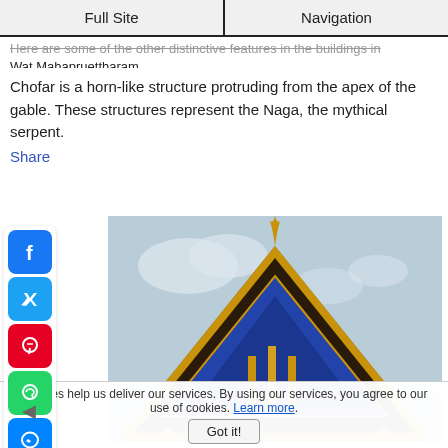Full Site | Navigation
Here are some of the other distinctive features in the buildings in Wat Mahapruettharam.
Chofar is a horn-like structure protruding from the apex of the gable. These structures represent the Naga, the mythical serpent.
Share
[Figure (photo): Photo of a Thai temple roof (Wat Mahapruettharam) showing ornate golden chofar horn-like structures at the apex and edges of the gable, with blue mosaic decoration and a cloudy sky background.]
Cookies help us deliver our services. By using our services, you agree to our use of cookies. Learn more. Got it!